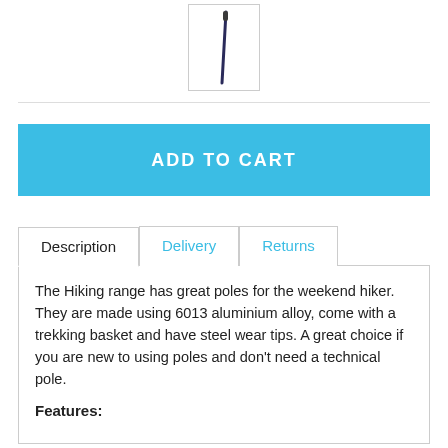[Figure (photo): Product thumbnail image of a hiking pole/trekking pole, shown vertically in a small bordered box]
ADD TO CART
Description | Delivery | Returns
The Hiking range has great poles for the weekend hiker. They are made using 6013 aluminium alloy, come with a trekking basket and have steel wear tips. A great choice if you are new to using poles and don't need a technical pole.
Features: